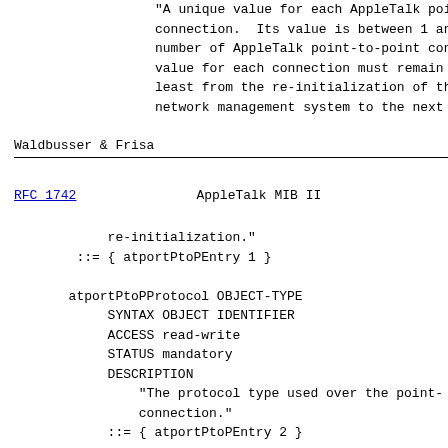"A unique value for each AppleTalk point-to-point connection.  Its value is between 1 and the number of AppleTalk point-to-point connections. value for each connection must remain constant at least from the re-initialization of the network management system to the next
Waldbusser & Frisa
RFC 1742                    AppleTalk MIB II
re-initialization."
::= { atportPtoPEntry 1 }

atportPtoPProtocol OBJECT-TYPE
    SYNTAX OBJECT IDENTIFIER
    ACCESS read-write
    STATUS mandatory
    DESCRIPTION
        "The protocol type used over the point-to-point connection."
    ::= { atportPtoPEntry 2 }

atportPtoPRemoteName OBJECT-TYPE
    SYNTAX DisplayString
    ACCESS read-write